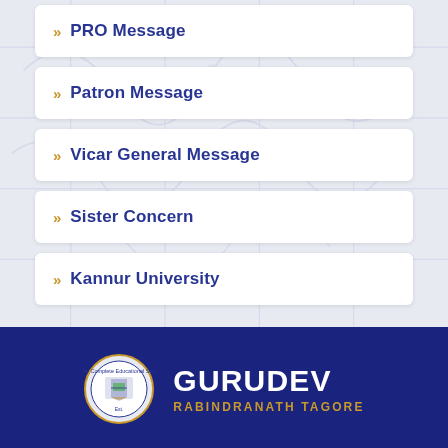PRO Message
Patron Message
Vicar General Message
Sister Concern
Kannur University
GURUDEV RABINDRANATH TAGORE